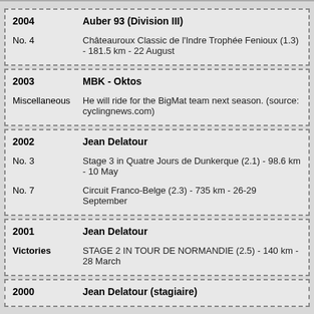| Year | Team | Label | Detail |
| --- | --- | --- | --- |
| 2004 | Auber 93 (Division III) | No. 4 | Châteauroux Classic de l'Indre Trophée Fenioux (1.3) - 181.5 km - 22 August |
| 2003 | MBK - Oktos | Miscellaneous | He will ride for the BigMat team next season. (source: cyclingnews.com) |
| 2002 | Jean Delatour | No. 3 | Stage 3 in Quatre Jours de Dunkerque (2.1) - 98.6 km - 10 May |
| 2002 | Jean Delatour | No. 7 | Circuit Franco-Belge (2.3) - 735 km - 26-29 September |
| 2001 | Jean Delatour | Victories | STAGE 2 IN TOUR DE NORMANDIE (2.5) - 140 km - 28 March |
| 2000 | Jean Delatour (stagiaire) |  |  |